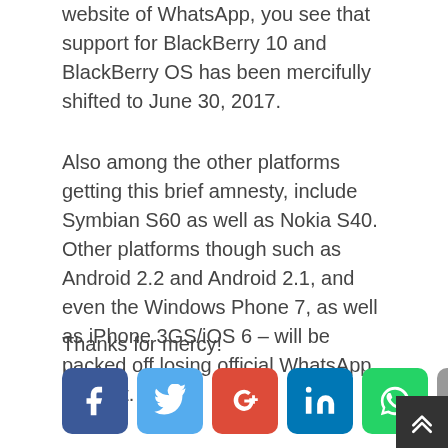When you look quickly to the FAQ section on the website of WhatsApp, you see that support for BlackBerry 10 and BlackBerry OS has been mercifully shifted to June 30, 2017.
Also among the other platforms getting this brief amnesty, include Symbian S60 as well as Nokia S40. Other platforms though such as Android 2.2 and Android 2.1, and even the Windows Phone 7, as well as iPhone 3GS/iOS 6 – will be packed off losing official WhatsApp support.
Thanks for mercy!
[Figure (infographic): Row of six social media share buttons: Facebook (dark blue, f icon), Twitter (light blue, bird icon), Google+ (red, g+ icon), LinkedIn (dark blue, in icon), WhatsApp (green, phone icon), Email (grey, envelope icon)]
Over 50,000 + Readers